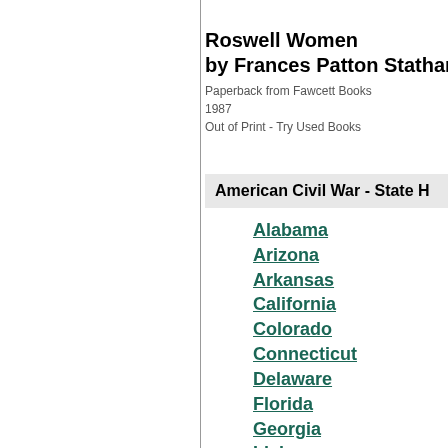Roswell Women by Frances Patton Statham
Paperback from Fawcett Books
1987
Out of Print - Try Used Books
American Civil War - State H
Alabama
Arizona
Arkansas
California
Colorado
Connecticut
Delaware
Florida
Georgia
Idaho
Illinois
Indiana
Iowa
Kansas
Kentucky